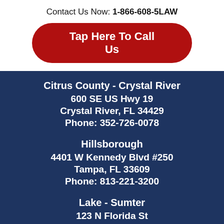Contact Us Now: 1-866-608-5LAW
Tap Here To Call Us
Citrus County - Crystal River
600 SE US Hwy 19
Crystal River, FL 34429
Phone: 352-726-0078
Hillsborough
4401 W Kennedy Blvd #250
Tampa, FL 33609
Phone: 813-221-3200
Lake - Sumter
123 N Florida St
Bushnell, FL 33513
Phone: 352-793-9330